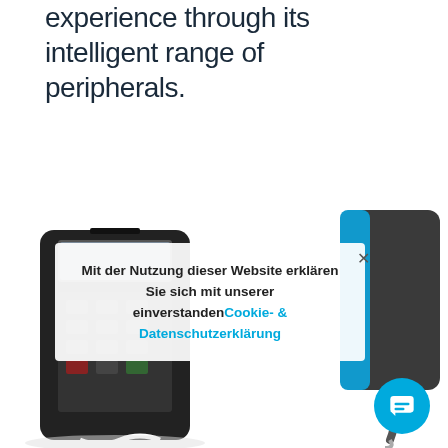experience through its intelligent range of peripherals.
[Figure (photo): Photo of payment terminal devices (POS readers/card readers) on a white background, partially visible at the bottom of the page.]
Mit der Nutzung dieser Website erklären Sie sich mit unserer einverstanden Cookie- & Datenschutzerklärung